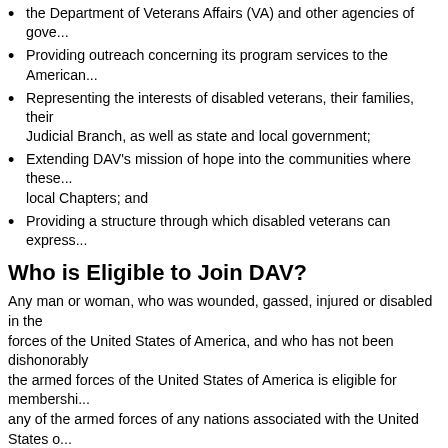the Department of Veterans Affairs (VA) and other agencies of gove...
Providing outreach concerning its program services to the American...
Representing the interests of disabled veterans, their families, their... Judicial Branch, as well as state and local government;
Extending DAV's mission of hope into the communities where these... local Chapters; and
Providing a structure through which disabled veterans can express...
Who is Eligible to Join DAV?
Any man or woman, who was wounded, gassed, injured or disabled in the forces of the United States of America, and who has not been dishonorably... the armed forces of the United States of America is eligible for membership... any of the armed forces of any nations associated with the United States o... are honorably discharged, are also eligible.
How Does DAV Membership Benefit You?
As a DAV Member, in addition to DAV programs and services, members ar... programs, products, and services.  Also included with your membership is...
What is DAV's Dues Structure?
Life membership is permanent.  Life membership dues are $300 and can b... little as $10.00 per month with recurring credit card payment. Those 80 an...
Help DAV in its effort to help you.  Sign up for membership today!  To sign... Membership Application, fill it out, enclose your membership payment, and...